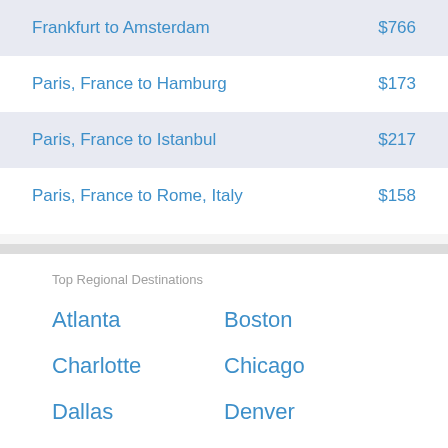Frankfurt to Amsterdam  $766
Paris, France to Hamburg  $173
Paris, France to Istanbul  $217
Paris, France to Rome, Italy  $158
Top Regional Destinations
Atlanta
Boston
Charlotte
Chicago
Dallas
Denver
Dubai
Hong Kong